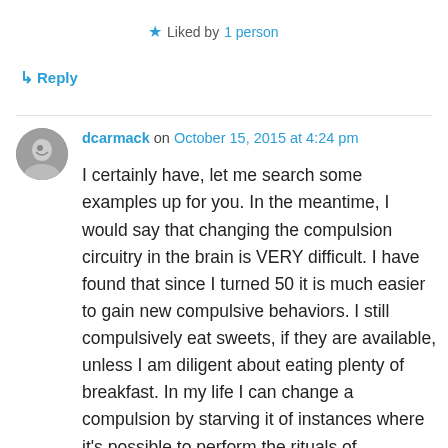★ Liked by 1 person
↳ Reply
dcarmack on October 15, 2015 at 4:24 pm
I certainly have, let me search some examples up for you. In the meantime, I would say that changing the compulsion circuitry in the brain is VERY difficult. I have found that since I turned 50 it is much easier to gain new compulsive behaviors. I still compulsively eat sweets, if they are available, unless I am diligent about eating plenty of breakfast. In my life I can change a compulsion by starving it of instances where it's possible to perform the rituals of compulsive behavior.